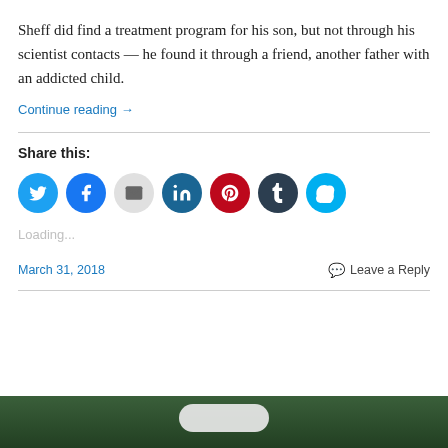Sheff did find a treatment program for his son, but not through his scientist contacts — he found it through a friend, another father with an addicted child.
Continue reading →
Share this:
[Figure (infographic): Social sharing icons: Twitter (blue), Facebook (blue), Email (grey), LinkedIn (dark blue), Pinterest (red), Tumblr (dark navy), Skype (light blue)]
Loading...
March 31, 2018
Leave a Reply
[Figure (photo): Dark green background with a white pill/tablet visible at the bottom of the page]